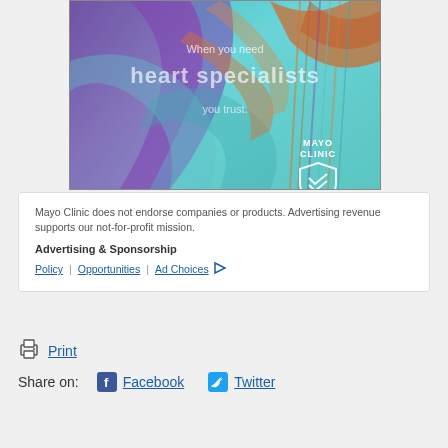[Figure (photo): Mayo Clinic advertisement image with colorful abstract swirling background in teal, purple and orange. Text overlay reads 'When you need heart specialists you trust.' with Mayo Clinic logo and shield icon in lower right.]
Mayo Clinic does not endorse companies or products. Advertising revenue supports our not-for-profit mission.
Advertising & Sponsorship
Policy | Opportunities | Ad Choices
Print
Share on: Facebook Twitter